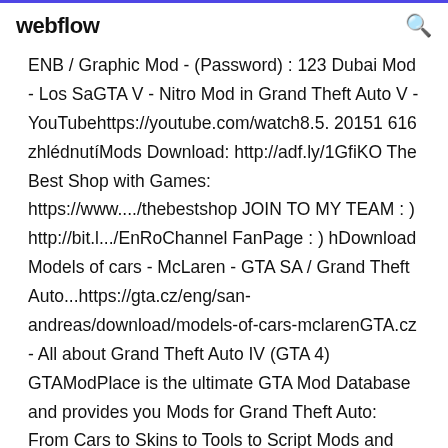webflow
ENB / Graphic Mod - (Password) : 123 Dubai Mod - Los SaGTA V - Nitro Mod in Grand Theft Auto V - YouTubehttps://youtube.com/watch8.5. 20151 616 zhlédnutíMods Download: http://adf.ly/1GfiKO The Best Shop with Games: https://www..../thebestshop JOIN TO MY TEAM : ) http://bit.l.../EnRoChannel FanPage : ) hDownload Models of cars - McLaren - GTA SA / Grand Theft Auto...https://gta.cz/eng/san-andreas/download/models-of-cars-mclarenGTA.cz - All about Grand Theft Auto IV (GTA 4) GTAModPlace is the ultimate GTA Mod Database and provides you Mods for Grand Theft Auto: From Cars to Skins to Tools to Script Mods and more. Downlaod Game Need